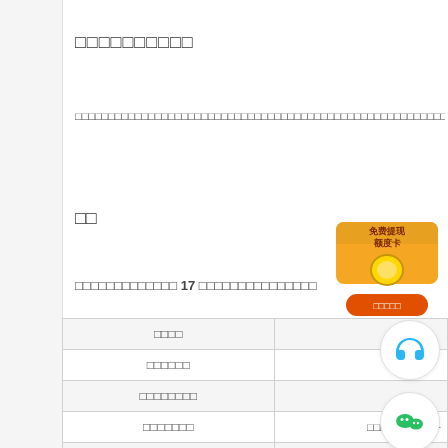□□□□□□□□□□
□□□□□□□□□□□□□□□□□□□□□□□□□□□□□□□□□□□□□□□□□□□□□□□□□□□□□□□□□□□□□□□□□□□□□□□□□□□□□□□□□□
□□
□□□□□□□□□□□□□ 17 □□□□□□□□□□□□□□□
| □□□□ |  |
| --- | --- |
| □□□□□□ |  |
| □□□□□□□□ |  |
| □□□□□□□ | □□□□□ = 17 □+ |
| □□ 15 □2.20 □□ x 15 = |  |
| □□ 4 □0.50 □□ x 4 = |  |